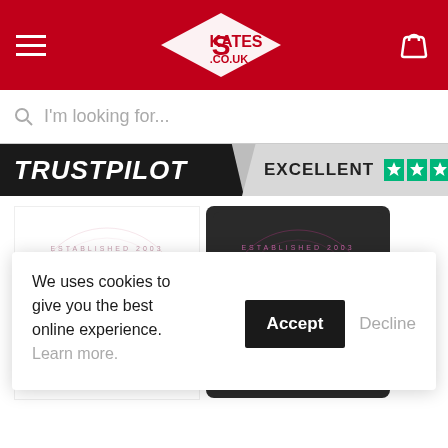[Figure (screenshot): Skates.co.uk website header with red background, hamburger menu, logo and basket icon]
[Figure (screenshot): Search bar with placeholder text 'I'm looking for...']
[Figure (screenshot): Trustpilot bar showing EXCELLENT rating with 4.5 green stars]
[Figure (photo): Root Industries logo on white background - pink/gold gothic style lettering]
[Figure (photo): Root Industries logo on dark/black background - pink/gold gothic style lettering]
We uses cookies to give you the best online experience. Learn more.
Accept
Decline